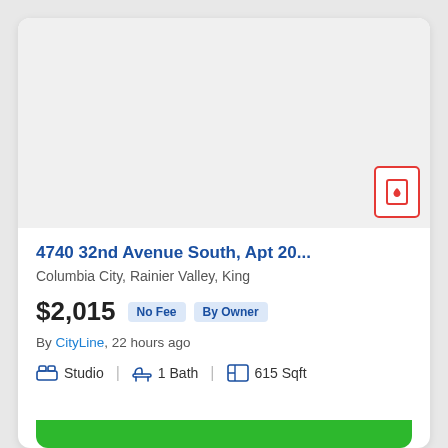[Figure (photo): Light gray placeholder image area for apartment listing photo]
4740 32nd Avenue South, Apt 20...
Columbia City, Rainier Valley, King
$2,015  No Fee  By Owner
By CityLine, 22 hours ago
Studio  |  1 Bath  |  615 Sqft